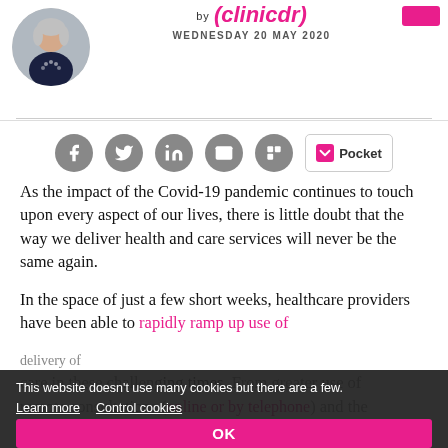clinicdr — WEDNESDAY 20 MAY 2020
[Figure (illustration): Circular avatar photo of a woman]
[Figure (logo): clinicdr logo in pink with date WEDNESDAY 20 MAY 2020]
[Figure (infographic): Social sharing icons row: Facebook, Twitter, LinkedIn, Email, Flipboard, and Pocket button]
As the impact of the Covid-19 pandemic continues to touch upon every aspect of our lives, there is little doubt that the way we deliver health and care services will never be the same again.
In the space of just a few short weeks, healthcare providers have been able to rapidly ramp up use of [link] delivery of care in these challenging times. From greater use of remote consultations (online or by telephone) and the electronic prescribing service, to mobilising artificial
This website doesn't use many cookies but there are a few. Learn more   Control cookies
OK